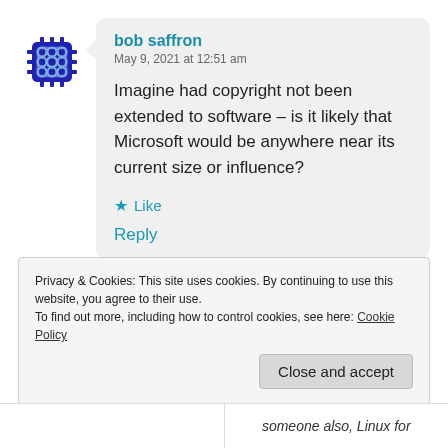[Figure (illustration): Blue circuit-chip avatar icon with decorative pattern]
bob saffron
May 9, 2021 at 12:51 am
Imagine had copyright not been extended to software – is it likely that Microsoft would be anywhere near its current size or influence?
★ Like
Reply
Privacy & Cookies: This site uses cookies. By continuing to use this website, you agree to their use.
To find out more, including how to control cookies, see here: Cookie Policy
Close and accept
someone also, Linux for